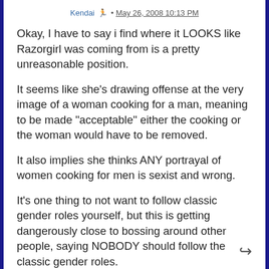Kendai 🏃 • May 26, 2008 10:13 PM
Okay, I have to say i find where it LOOKS like Razorgirl was coming from is a pretty unreasonable position.
It seems like she's drawing offense at the very image of a woman cooking for a man, meaning to be made "acceptable" either the cooking or the woman would have to be removed.
It also implies she thinks ANY portrayal of women cooking for men is sexist and wrong.
It's one thing to not want to follow classic gender roles yourself, but this is getting dangerously close to bossing around other people, saying NOBODY should follow the classic gender roles.